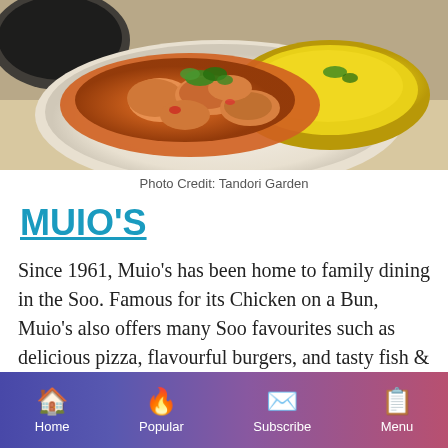[Figure (photo): A plate of chicken curry with orange-red sauce and yellow saffron rice, garnished with fresh cilantro. A dark pan visible in the background.]
Photo Credit: Tandori Garden
MUIO'S
Since 1961, Muio's has been home to family dining in the Soo. Famous for its Chicken on a Bun, Muio's also offers many Soo favourites such as delicious pizza, flavourful burgers, and tasty fish & chips. Affordable
Home | Popular | Subscribe | Menu